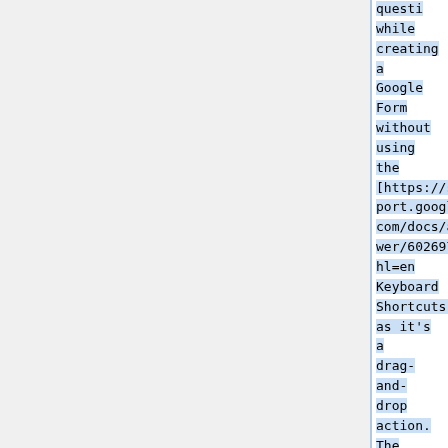question while creating a Google Form without using the [https://support.google.com/docs/answer/6026976?hl=en Keyboard Shortcuts], as it's a drag-and-drop action. The keyboard shortcuts will allow you to move a question